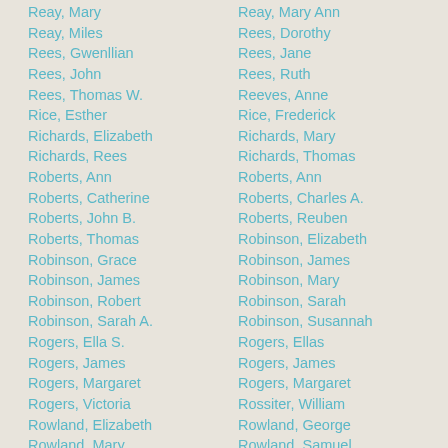Reay, Mary
Reay, Mary Ann
Reay, Miles
Rees, Dorothy
Rees, Gwenllian
Rees, Jane
Rees, John
Rees, Ruth
Rees, Thomas W.
Reeves, Anne
Rice, Esther
Rice, Frederick
Richards, Elizabeth
Richards, Mary
Richards, Rees
Richards, Thomas
Roberts, Ann
Roberts, Ann
Roberts, Catherine
Roberts, Charles A.
Roberts, John B.
Roberts, Reuben
Roberts, Thomas
Robinson, Elizabeth
Robinson, Grace
Robinson, James
Robinson, James
Robinson, Mary
Robinson, Robert
Robinson, Sarah
Robinson, Sarah A.
Robinson, Susannah
Rogers, Ella S.
Rogers, Ellas
Rogers, James
Rogers, James
Rogers, Margaret
Rogers, Margaret
Rogers, Victoria
Rossiter, William
Rowland, Elizabeth
Rowland, George
Rowland, Mary
Rowland, Samuel
Rutherford, Mary
Rutlegde, Harriet
Rutlegde, Mary
Salmon, Emma
Savage, Herbert
Seaman, Jane
Seedall, Ann
Seedall, John R.
Seedall, William
Shaw, Charles C.